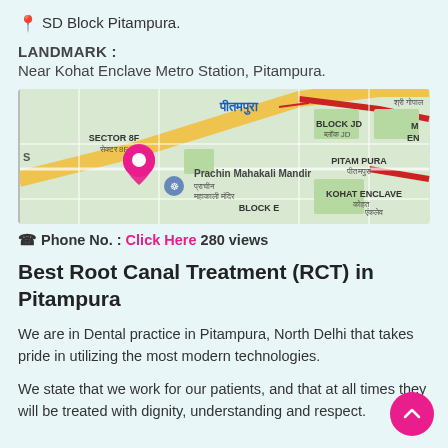SD Block Pitampura.
LANDMARK :
Near Kohat Enclave Metro Station, Pitampura.
[Figure (map): Google Maps screenshot showing Pitampura area with landmarks including Sector 8F, Block JD, Prachin Mahakali Mandir, Pitam Pura, Kohat Enclave, and Block E. A pink location pin is visible on the left side.]
Phone No. : Click Here 280 views
Best Root Canal Treatment (RCT) in Pitampura
We are in Dental practice in Pitampura, North Delhi that takes pride in utilizing the most modern technologies.
We state that we work for our patients, and that at all times they will be treated with dignity, understanding and respect.